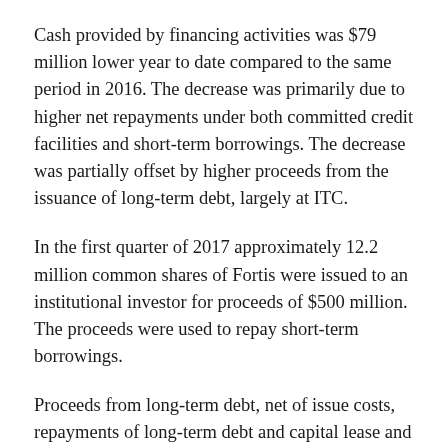Cash provided by financing activities was $79 million lower year to date compared to the same period in 2016. The decrease was primarily due to higher net repayments under both committed credit facilities and short-term borrowings. The decrease was partially offset by higher proceeds from the issuance of long-term debt, largely at ITC.
In the first quarter of 2017 approximately 12.2 million common shares of Fortis were issued to an institutional investor for proceeds of $500 million. The proceeds were used to repay short-term borrowings.
Proceeds from long-term debt, net of issue costs, repayments of long-term debt and capital lease and finance obligations, and net (repayments) borrowings under committed credit facilities for the quarter and year to date compared to the same period last...